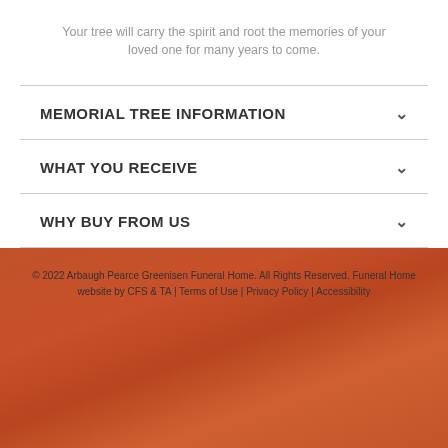Your tree will carry the spirit and root the memories of your loved one for many years to come.
MEMORIAL TREE INFORMATION
WHAT YOU RECEIVE
WHY BUY FROM US
© 2022 Arbaugh Pearce Greenisen Funeral Home. All Rights Reserved. Funeral Home website by CFS & TA | Terms of Use | Privacy Policy | Accessibility